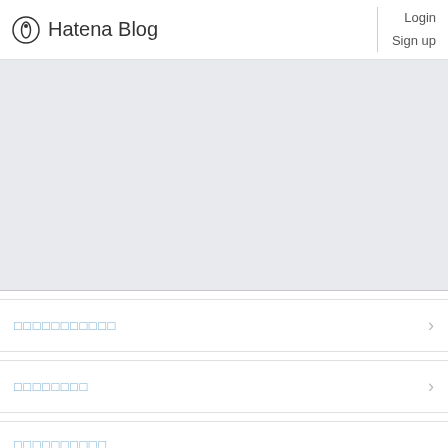Hatena Blog  Login  Sign up
[Figure (other): Large light gray banner/hero area placeholder]
□□□□□□□□□□□
□□□□□□□□
□□□□□□□□□□